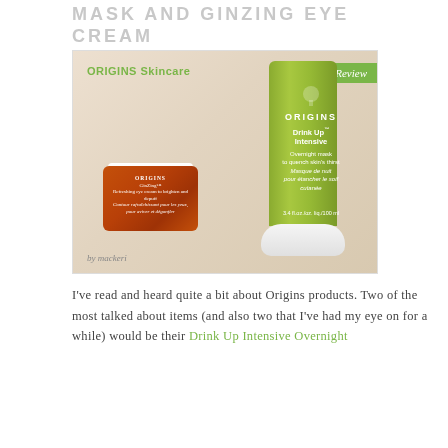MASK AND GINZING EYE CREAM
march 2, 2014
[Figure (photo): Origins Skincare Review photo showing two products: a large green tube of Origins Drink Up Intensive Overnight mask and a small amber jar of Origins GinZing eye cream, on a light wooden surface. Text overlays: 'ORIGINS Skincare' in green top left, 'Review' in green ribbon top right, 'by mackeri' bottom left.]
I've read and heard quite a bit about Origins products. Two of the most talked about items (and also two that I've had my eye on for a while) would be...